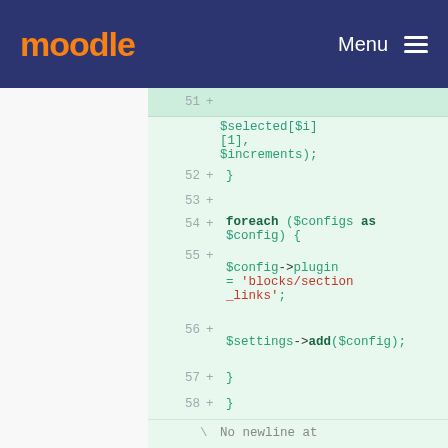moodle   Menu
[Figure (screenshot): Code diff view showing PHP code lines 52-58 with additions marked by '+', including $selected[$i][1], $increments, foreach ($configs as $config), $config->plugin = 'blocks/section_links', $settings->add($config), closing braces]
\ No newline at